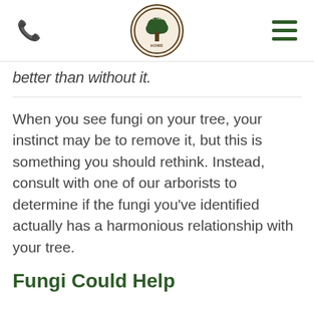[Phone icon] [Mr. Tree logo] [Menu icon]
better than without it.
When you see fungi on your tree, your instinct may be to remove it, but this is something you should rethink. Instead, consult with one of our arborists to determine if the fungi you've identified actually has a harmonious relationship with your tree.
Fungi Could Help